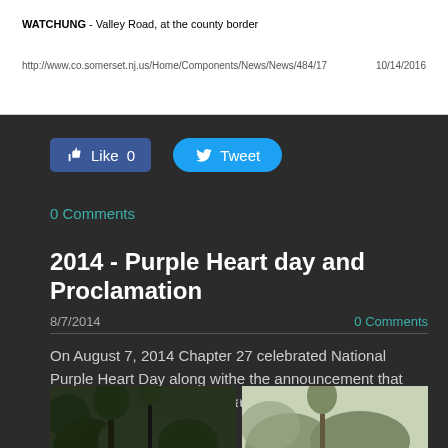[Figure (screenshot): White document snippet showing 'WATCHUNG - Valley Road, at the county border' and a URL footer with date 10/14/2016]
WATCHUNG - Valley Road, at the county border
http://www.co.somerset.nj.us/Home/Components/News/News/484/17    10/14/2016
[Figure (screenshot): Facebook Like button showing Like 0]
[Figure (screenshot): Twitter Tweet button]
0 Comments
2014 - Purple Heart day and Proclamation
8/7/2014
0 Comments
On August 7, 2014 Chapter 27 celebrated National Purple Heart Day along withe the announcement that Hillsborough Township NJ has been proclaimed a Purple Heart Community.
[Figure (photo): Outdoor photo strip showing trees and foliage, split into two panels]